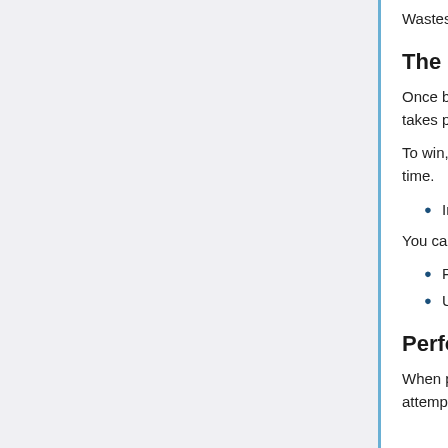Wastes event.
The Battle Phase
Once battle begins, you will gain access to the battlefield. Here is where the actual fighting takes place.
To win, you must earn more Guild Pts than your opponent within the allocated amount of time.
In the event of a tie, both guilds will suffer a loss.
You can earn Guild Pts by -
Performing an attack
Using Rally to restore some of a guildmate's Action Pts
Performing an Attack
When performing an attack, up to a maximum of 5 of your units NOT set on defense will attempt to attack the enemy guild's base.